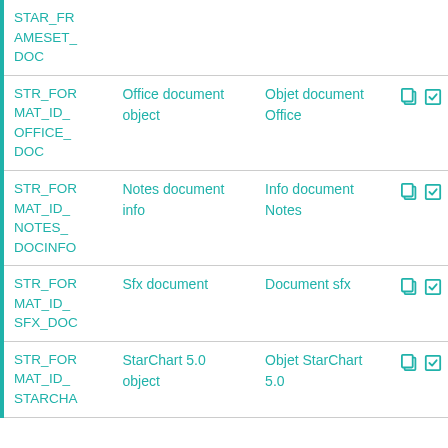| ID | English | French | Actions |
| --- | --- | --- | --- |
| STAR_FRAMESET_DOC |  |  |  |
| STR_FORMAT_ID_OFFICE_DOC | Office document object | Objet document Office | copy edit |
| STR_FORMAT_ID_NOTES_DOCINFO | Notes document info | Info document Notes | copy edit |
| STR_FORMAT_ID_SFX_DOC | Sfx document | Document sfx | copy edit |
| STR_FORMAT_ID_STARCHA | StarChart 5.0 object | Objet StarChart 5.0 | copy edit |